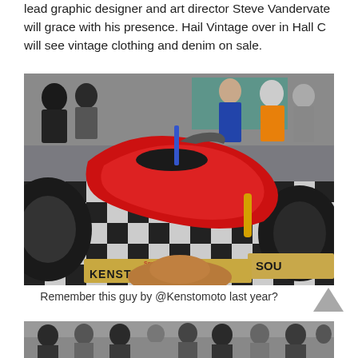lead graphic designer and art director Steve Vandervate will grace with his presence. Hail Vintage over in Hall C will see vintage clothing and denim on sale.
[Figure (photo): Custom red motorcycle (Kenstomoto) on a black and white checkerboard floor at a motorcycle show, with crowds of people in the background and other motorcycles visible.]
Remember this guy by @Kenstomoto last year?
[Figure (photo): Partial view of another photo at the bottom of the page showing people at what appears to be the same event.]